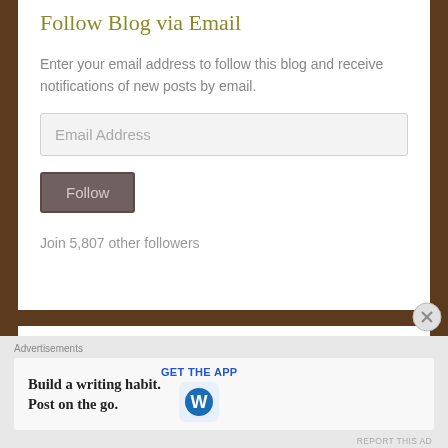Follow Blog via Email
Enter your email address to follow this blog and receive notifications of new posts by email.
Email Address
Follow
Join 5,807 other followers
Advertise With Us
If you have travel related services or products that you want to ...
Advertisements
Build a writing habit. Post on the go.
GET THE APP
REPORT THIS AD